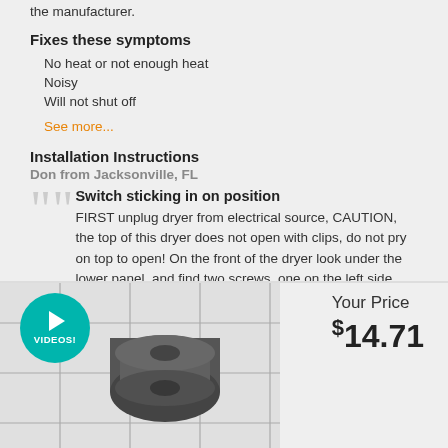the manufacturer.
Fixes these symptoms
No heat or not enough heat
Noisy
Will not shut off
See more...
Installation Instructions
Don from Jacksonville, FL
Switch sticking in on position
FIRST unplug dryer from electrical source, CAUTION, the top of this dryer does not open with clips, do not pry on top to open! On the front of the dryer look under the lower panel, and find two screws, one on the left side, and one on the right, remove these screws, and pull
Read more...
[Figure (photo): Product image of a dryer part (appears to be a cylindrical component) with a teal VIDEOS! badge overlay and a grid pattern in the background]
Your Price $14.71